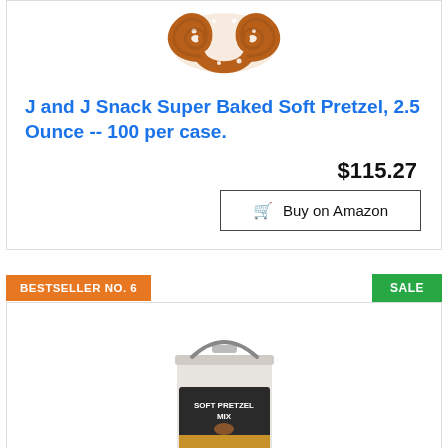[Figure (photo): Soft pretzel product photo — baked pretzel with salt on white background]
J and J Snack Super Baked Soft Pretzel, 2.5 Ounce -- 100 per case.
$115.27
Buy on Amazon
BESTSELLER NO. 6
SALE
[Figure (photo): Large white plastic bucket of Soft Pretzel Mix with dark label]